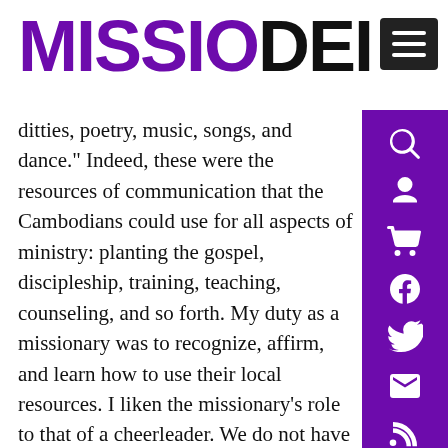MISSIO DEI
ditties, poetry, music, songs, and dance.” Indeed, these were the resources of communication that the Cambodians could use for all aspects of ministry: planting the gospel, discipleship, training, teaching, counseling, and so forth. My duty as a missionary was to recognize, affirm, and learn how to use their local resources. I liken the missionary’s role to that of a cheerleader. We do not have to tell others how to play the game or play it for them, rather we cheer them on saying, “You can do it!”
I entered the Cambodian church and looked